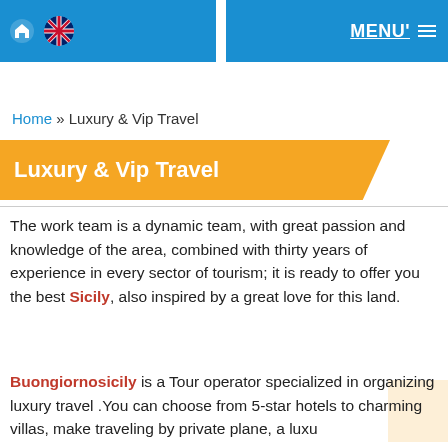MENU'
Home » Luxury & Vip Travel
Luxury & Vip Travel
The work team is a dynamic team, with great passion and knowledge of the area, combined with thirty years of experience in every sector of tourism; it is ready to offer you the best Sicily, also inspired by a great love for this land.
Buongiornosicily is a Tour operator specialized in organizing luxury travel .You can choose from 5-star hotels to charming villas, make traveling by private plane, a luxu...